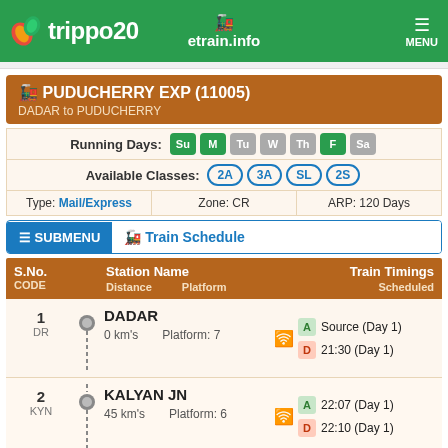trippo20 etrain.info MENU
PUDUCHERRY EXP (11005) - DADAR to PUDUCHERRY
Running Days: Su M Tu W Th F Sa
Available Classes: 2A 3A SL 2S
Type: Mail/Express   Zone: CR   ARP: 120 Days
SUBMENU - Train Schedule
| S.No. CODE | Station Name / Distance / Platform | Train Timings Scheduled |
| --- | --- | --- |
| 1 DR | DADAR / 0 km's / Platform: 7 | A: Source (Day 1) / D: 21:30 (Day 1) |
| 2 KYN | KALYAN JN / 45 km's / Platform: 6 | A: 22:07 (Day 1) / D: 22:10 (Day 1) |
| 3 KJT | KARJAT / 91 km's / Platform: 1 | A: 22:57 (Day 1) / D: 23:00 (Day 1) |
| 4 PUNE | PUNE JN / 192 km's / Platform: 2 | A: 00:55 (Day 2) |